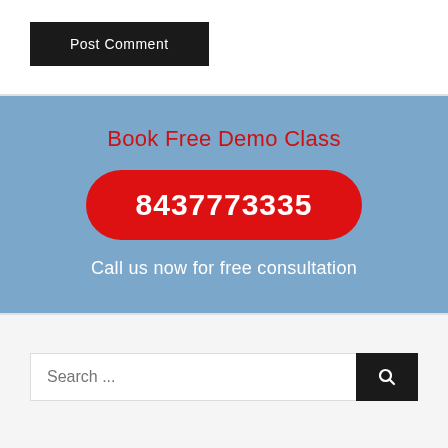[Figure (screenshot): Post Comment button — dark/black background with white text]
Book Free Demo Class
8437773335
Call us now for free consultation
Search ...